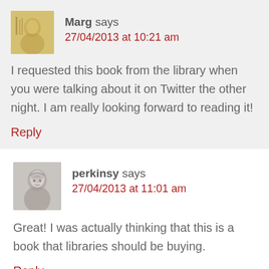Marg says 27/04/2013 at 10:21 am
I requested this book from the library when you were talking about it on Twitter the other night. I am really looking forward to reading it!
Reply
perkinsy says 27/04/2013 at 11:01 am
Great! I was actually thinking that this is a book that libraries should be buying.
Reply